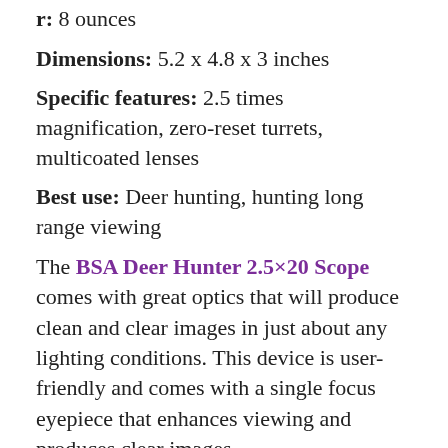ght: 8 ounces
Dimensions: 5.2 x 4.8 x 3 inches
Specific features: 2.5 times magnification, zero-reset turrets, multicoated lenses
Best use: Deer hunting, hunting long range viewing
The BSA Deer Hunter 2.5×20 Scope comes with great optics that will produce clean and clear images in just about any lighting conditions. This device is user-friendly and comes with a single focus eyepiece that enhances viewing and produces clear images.
It comes with a riflescope tube that is durable